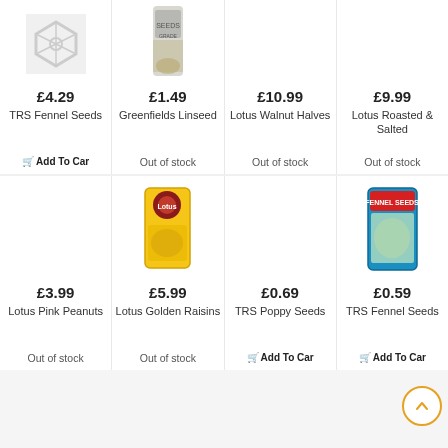[Figure (screenshot): E-commerce product listing page showing two rows of 4 products each with prices, names, and add to cart / out of stock buttons.]
£4.29
TRS Fennel Seeds
Add To Cart
£1.49
Greenfields Linseed
Out of stock
£10.99
Lotus Walnut Halves
Out of stock
£9.99
Lotus Roasted & Salted
Out of stock
£3.99
Lotus Pink Peanuts
Out of stock
£5.99
Lotus Golden Raisins
Out of stock
£0.69
TRS Poppy Seeds
Add To Cart
£0.59
TRS Fennel Seeds
Add To Cart